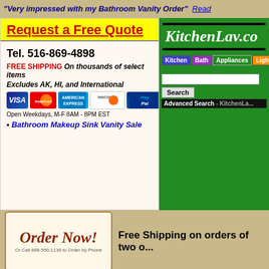"Very impressed with my Bathroom Vanity Order"  Read
Request a Free Quote
Tel. 516-869-4898
FREE SHIPPING On thousands of select items
Excludes AK, HI, and International
[Figure (logo): Payment method logos: Visa, MasterCard, American Express, Discover, PayPal]
Open Weekdays, M-F 8AM - 8PM EST
Bathroom Makeup Sink Vanity Sale
[Figure (logo): KitchenLav.com website logo on green background]
Kitchen  Bath  Appliances  Lighting
Search
Advanced Search - KitchenLa...
[Figure (logo): Order Now! button with script text and call number]
Free Shipping on orders of two o...